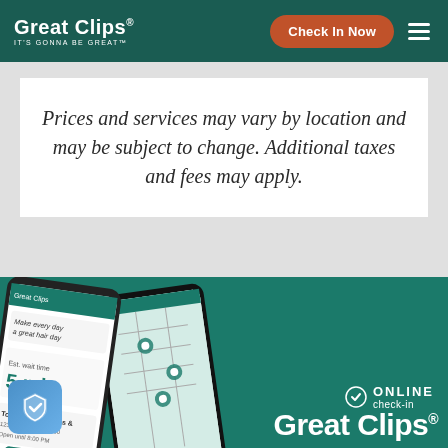Great Clips® IT'S GONNA BE GREAT™ | Check In Now
Prices and services may vary by location and may be subject to change. Additional taxes and fees may apply.
[Figure (screenshot): Two smartphones showing the Great Clips app interface with map and 5 min wait time, on a teal background. A blue shield icon is in the bottom left corner. Online check-in branding and Great Clips logo appear on the right side.]